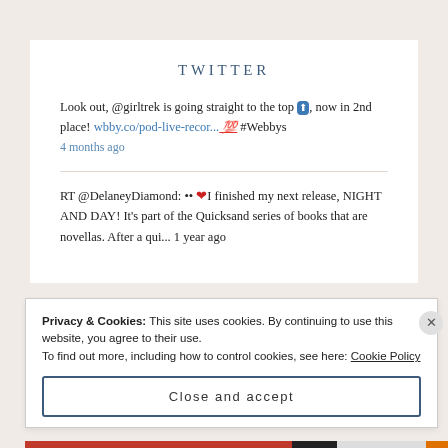TWITTER
Look out, @girltrek is going straight to the top 🔼, now in 2nd place! wbby.co/pod-live-recor...💯 #Webbys
4 months ago
RT @DelaneyDiamond: ••❤I finished my next release, NIGHT AND DAY! It's part of the Quicksand series of books that are novellas. After a qui... 1 year ago
Privacy & Cookies: This site uses cookies. By continuing to use this website, you agree to their use.
To find out more, including how to control cookies, see here: Cookie Policy
Close and accept